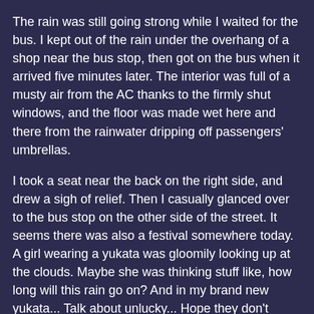The rain was still going strong while I waited for the bus. I kept out of the rain under the overhang of a shop near the bus stop, then got on the bus when it arrived five minutes later. The interior was full of a musty air from the AC thanks to the firmly shut windows, and the floor was made wet here and there from the rainwater dripping off passengers' umbrellas.
I took a seat near the back on the right side, and drew a sigh of relief. Then I casually glanced over to the bus stop on the other side of the street. It seems there was also a festival somewhere today. A girl wearing a yukata was gloomily looking up at the clouds. Maybe she was thinking stuff like, how long will this rain go on? And in my brand new yukata... Talk about unlucky... Hope they don't cancel the festival.
The bus started to move.
"Now you've done it," someone said.
You overlooked one hell of a thing, y'know.
I wiped the fog off the glass window and looked at that girl in the yukata again.